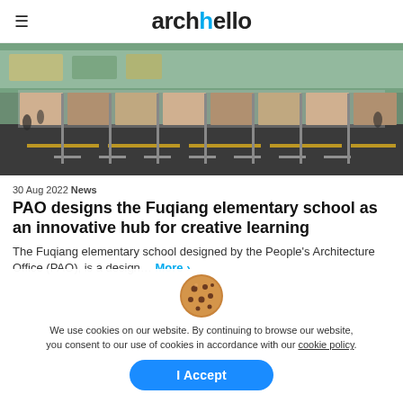archello
[Figure (photo): Aerial or elevated view of a modern glass-fronted school building with a bus stop area featuring multiple advertisement panels, yellow road markings, and people walking]
30 Aug 2022 News
PAO designs the Fuqiang elementary school as an innovative hub for creative learning
The Fuqiang elementary school designed by the People's Architecture Office (PAO), is a design... More >
We use cookies on our website. By continuing to browse our website, you consent to our use of cookies in accordance with our cookie policy.
I Accept